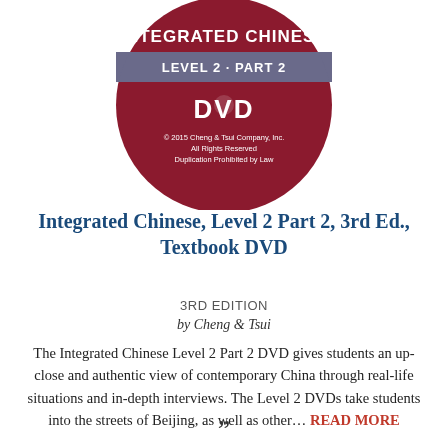[Figure (illustration): A dark red circular DVD disc graphic with 'INTEGRATED CHINESE', 'LEVEL 2 · PART 2', 'DVD', and copyright text by Cheng & Tsui Company, Inc.]
Integrated Chinese, Level 2 Part 2, 3rd Ed., Textbook DVD
3RD EDITION
by Cheng & Tsui
The Integrated Chinese Level 2 Part 2 DVD gives students an up-close and authentic view of contemporary China through real-life situations and in-depth interviews. The Level 2 DVDs take students into the streets of Beijing, as well as other... READ MORE